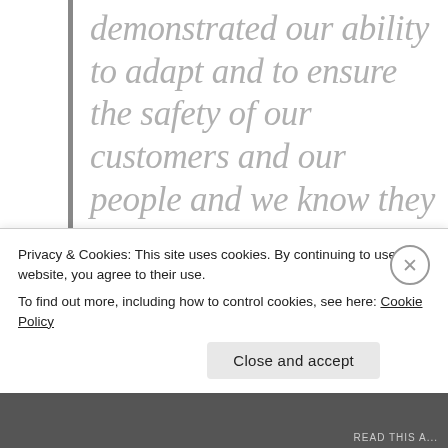demonstrated our ability to adapt and to ensure the safety of our customers and our people and we know they want to fly with us.
They have been denied the freedom we provide, not by a
Privacy & Cookies: This site uses cookies. By continuing to use this website, you agree to their use.
To find out more, including how to control cookies, see here: Cookie Policy